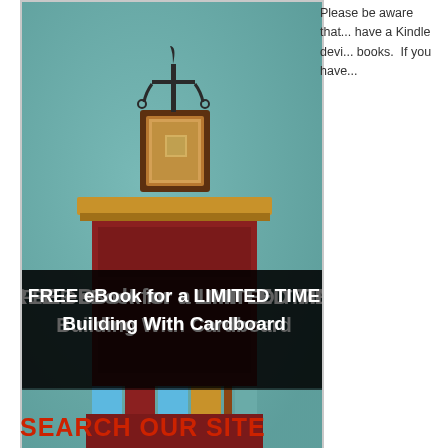[Figure (photo): Photo of a decorative cardboard furniture piece (pedestal/side table) with a candle holder on top, against a teal background. Text overlay reads: FREE eBook for a LIMITED TIME Building With Cardboard]
Please be aware that... have a Kindle devi... books.  If you have...
Filed Under: Interesting or Funny, Projects, Tools & Knowledge
SEARCH OUR SITE